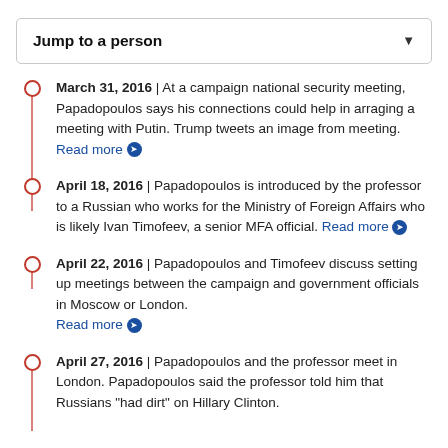Jump to a person
March 31, 2016 | At a campaign national security meeting, Papadopoulos says his connections could help in arraging a meeting with Putin. Trump tweets an image from meeting. Read more
April 18, 2016 | Papadopoulos is introduced by the professor to a Russian who works for the Ministry of Foreign Affairs who is likely Ivan Timofeev, a senior MFA official. Read more
April 22, 2016 | Papadopoulos and Timofeev discuss setting up meetings between the campaign and government officials in Moscow or London. Read more
April 27, 2016 | Papadopoulos and the professor meet in London. Papadopoulos said the professor told him that Russians "had dirt" on Hillary Clinton.